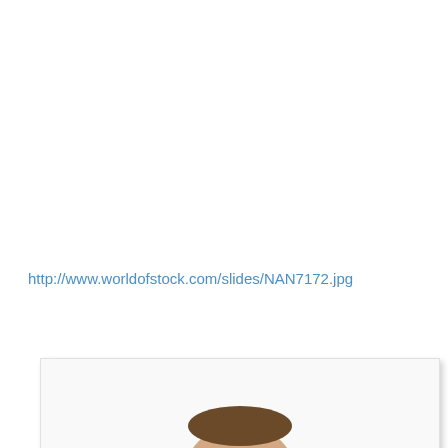http://www.worldofstock.com/slides/NAN7172.jpg
[Figure (photo): Partial view of a stock photo showing the top portion of a person's head, cropped at the bottom of the page. Photo has a white/light background with a subtle drop shadow border.]